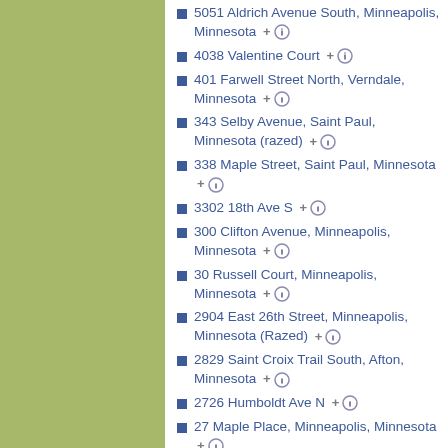5051 Aldrich Avenue South, Minneapolis, Minnesota
4038 Valentine Court
401 Farwell Street North, Verndale, Minnesota
343 Selby Avenue, Saint Paul, Minnesota (razed)
338 Maple Street, Saint Paul, Minnesota
3302 18th Ave S
300 Clifton Avenue, Minneapolis, Minnesota
30 Russell Court, Minneapolis, Minnesota
2904 East 26th Street, Minneapolis, Minnesota (Razed)
2829 Saint Croix Trail South, Afton, Minnesota
2726 Humboldt Ave N
27 Maple Place, Minneapolis, Minnesota
2320 Colfax Avenue South, Minneapolis, Minnesota